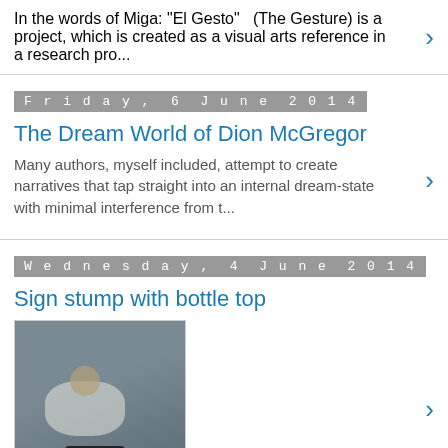In the words of Miga: "El Gesto"  (The Gesture) is a project, which is created as a visual arts reference in a research pro...
Friday, 6 June 2014
The Dream World of Dion McGregor
Many authors, myself included, attempt to create narratives that tap straight into an internal dream-state with minimal interference from t...
Wednesday, 4 June 2014
Sign stump with bottle top
[Figure (photo): Photograph of a concrete surface with a sign stump and a bottle top, with a shoe visible at the bottom.]
Monday, 26 May 2014
How Everything Works